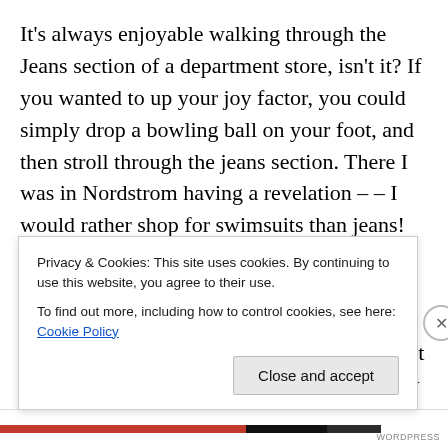It's always enjoyable walking through the Jeans section of a department store, isn't it? If you wanted to up your joy factor, you could simply drop a bowling ball on your foot, and then stroll through the jeans section. There I was in Nordstrom having a revelation – – I would rather shop for swimsuits than jeans! First came “Bell-Bottom” jeans, then “Boot Cut” followed by “Boyfriend” jeans. Someone got smart and invented “Mom Jeans” followed by (depending how confident you were) “Not Your Daughter’s Jeans.” Now I am proposing, “Not My Muffin-Top” jeans. Of course this would be one of many styles in my new Fall
Privacy & Cookies: This site uses cookies. By continuing to use this website, you agree to their use.
To find out more, including how to control cookies, see here: Cookie Policy
Close and accept